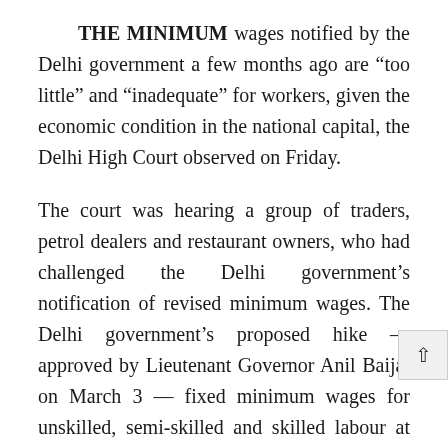THE MINIMUM wages notified by the Delhi government a few months ago are “too little” and “inadequate” for workers, given the economic condition in the national capital, the Delhi High Court observed on Friday.
The court was hearing a group of traders, petrol dealers and restaurant owners, who had challenged the Delhi government’s notification of revised minimum wages. The Delhi government’s proposed hike — approved by Lieutenant Governor Anil Baijal on March 3 — fixed minimum wages for unskilled, semi-skilled and skilled labour at around Rs 13,350, Rs 14,698 and Rs 16,182 respectively from the previous Rs 9,724, Rs 10,764 and Rs 11,830. “Is it possible for an individual to sustain on